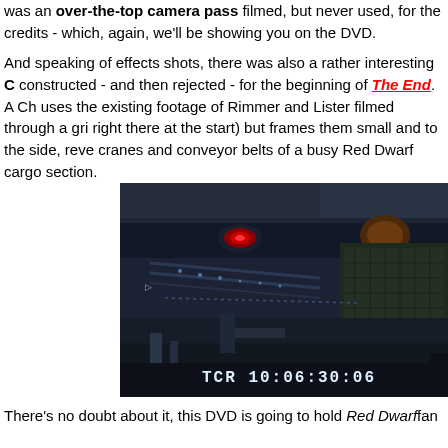was an over-the-top camera pass filmed, but never used, for the credits - which, again, we'll be showing you on the DVD.
And speaking of effects shots, there was also a rather interesting C constructed - and then rejected - for the beginning of The End. A Ch uses the existing footage of Rimmer and Lister filmed through a gri right there at the start) but frames them small and to the side, reve cranes and conveyor belts of a busy Red Dwarf cargo section.
[Figure (screenshot): A dark video still of a Red Dwarf cargo section interior showing industrial machinery, cranes and conveyor belts. A timecode reads TCR 10:06:30:06 at the bottom.]
There's no doubt about it, this DVD is going to hold Red Dwarffan